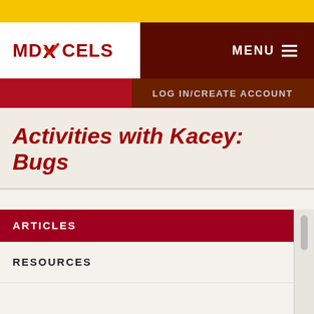[Figure (logo): MD EXCELS logo with red checkmark over the X]
MENU
LOG IN/CREATE ACCOUNT
Activities with Kacey: Bugs
ARTICLES
RESOURCES